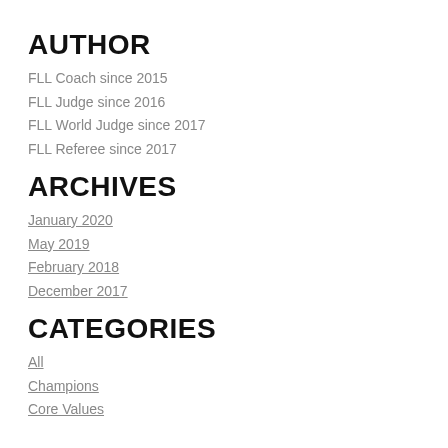AUTHOR
FLL Coach since 2015
FLL Judge since 2016
FLL World Judge since 2017
FLL Referee since 2017
ARCHIVES
January 2020
May 2019
February 2018
December 2017
CATEGORIES
All
Champions
Core Values